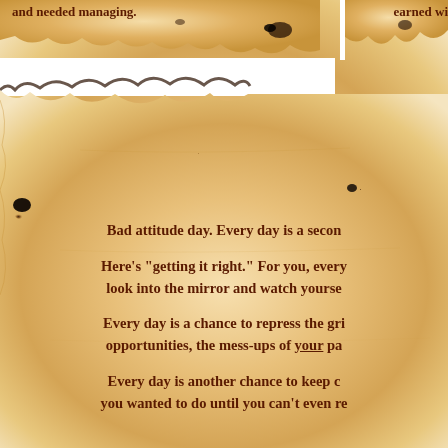[Figure (illustration): Aged parchment/burnt paper texture background with torn edges, warm amber and cream tones with dark burn marks]
and needed managing.
earned wi
Bad attitude day. Every day is a secon
Here's "getting it right." For you, every look into the mirror and watch yourse
Every day is a chance to repress the gri opportunities, the mess-ups of your pa
Every day is another chance to keep c you wanted to do until you can't even re